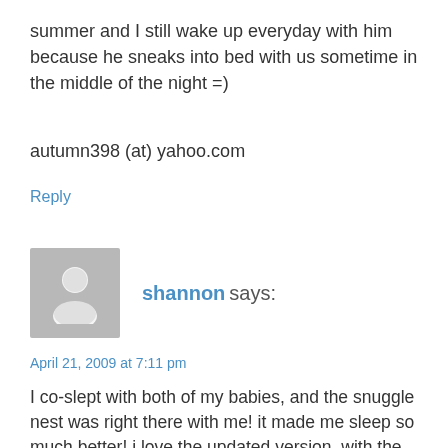summer and I still wake up everyday with him because he sneaks into bed with us sometime in the middle of the night =)
autumn398 (at) yahoo.com
Reply
shannon says:
April 21, 2009 at 7:11 pm
I co-slept with both of my babies, and the snuggle nest was right there with me! it made me sleep so much better! i love the updated version, with the incline and the prevention of rolling. im pregnant with my third and would love to use this fabulous product!